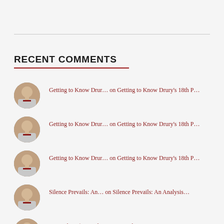RECENT COMMENTS
Getting to Know Drur… on Getting to Know Drury's 18th P…
Getting to Know Drur… on Getting to Know Drury's 18th P…
Getting to Know Drur… on Getting to Know Drury's 18th P…
Silence Prevails: An… on Silence Prevails: An Analysis…
Utter Chaos | Tim Cl… on Utter Chaos